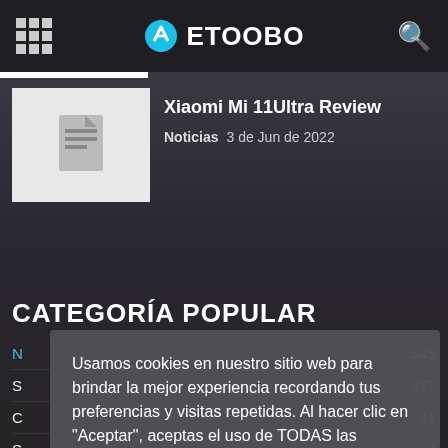ETOOBO
[Figure (screenshot): Article thumbnail placeholder with document icon]
Xiaomi Mi 11Ultra Review
Noticias   3 de Jun de 2022
CATEGORÍA POPULAR
N  545
S  477
C  41
S  34
A  32
X  31
Vivo  31
Usamos cookies en nuestro sitio web para brindar la mejor experiencia recordando tus preferencias y visitas repetidas. Al hacer clic en "Aceptar", aceptas el uso de TODAS las cookies.
No vender mi información personal
Ajuste de Cookies   Acepto